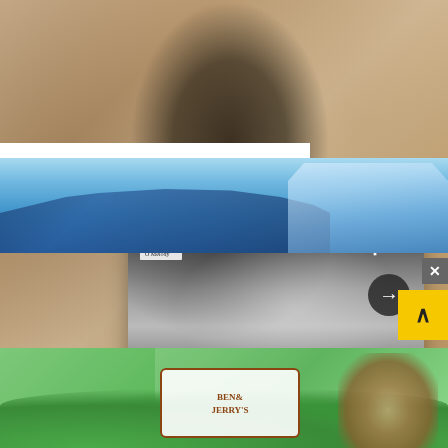[Figure (photo): Background photo of a textured stucco wall with a dark metal outdoor lantern fixture mounted on it]
[Figure (screenshot): Popup card overlay showing a black and white photo of a young Asian woman with a bob haircut, with logo 'FORNIY' in top left, three dots menu and X close button, right arrow navigation button, and article title below]
Why The 'Clean Girl' Aesthetic Is Problematic - 21Ninety
$46 Security Cam
HomeGuarder
[Figure (photo): Cruise ship advertisement banner showing a large ship on blue water with a coastal city in background]
[Figure (photo): Ben & Jerry's advertisement banner with green hills background showing the Ben & Jerry's logo and ice cream products]